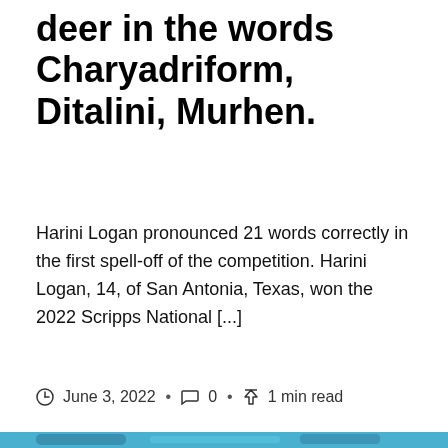deer in the words Charyadriform, Ditalini, Murhen.
Harini Logan pronounced 21 words correctly in the first spell-off of the competition. Harini Logan, 14, of San Antonia, Texas, won the 2022 Scripps National [...]
June 3, 2022 · 0 · 1 min read
[Figure (photo): Underwater photo showing a scuba diver with a light swimming near a coral-encrusted structure against a blue ocean background]